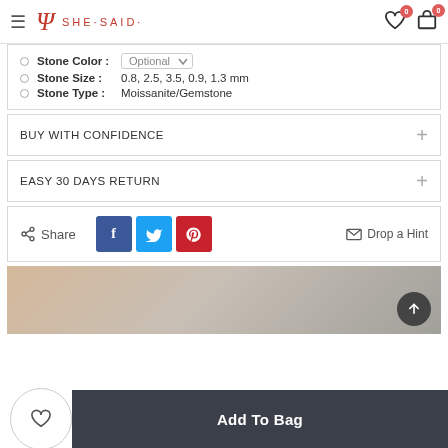SHE·SAID·YES
Stone Color: Optional
Stone Size: 0.8, 2.5, 3.5, 0.9, 1.3 mm
Stone Type: Moissanite/Gemstone
BUY WITH CONFIDENCE
EASY 30 DAYS RETURN
Share  Drop a Hint
[Figure (photo): Product lifestyle image with beige/tan background and a back-to-top arrow button]
Add To Bag